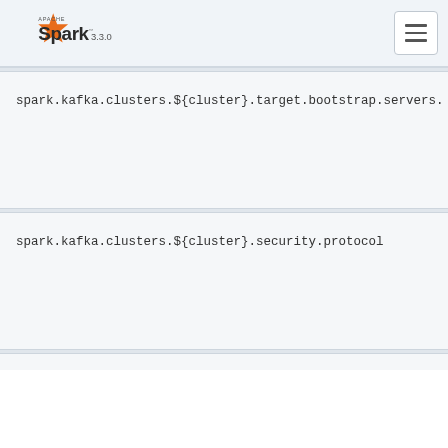Apache Spark 3.3.0
spark.kafka.clusters.${cluster}.target.bootstrap.servers.
spark.kafka.clusters.${cluster}.security.protocol